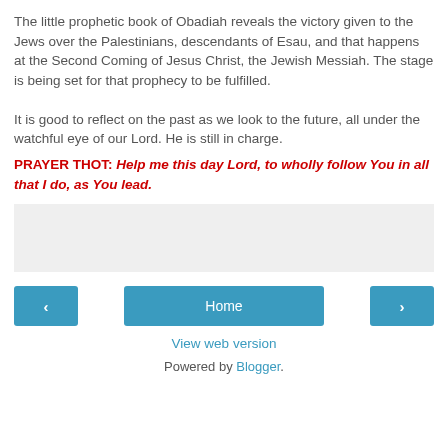The little prophetic book of Obadiah reveals the victory given to the Jews over the Palestinians, descendants of Esau, and that happens at the Second Coming of Jesus Christ, the Jewish Messiah. The stage is being set for that prophecy to be fulfilled.
It is good to reflect on the past as we look to the future, all under the watchful eye of our Lord. He is still in charge.
PRAYER THOT: Help me this day Lord, to wholly follow You in all that I do, as You lead.
[Figure (other): Gray advertisement box placeholder]
< Home >
View web version
Powered by Blogger.